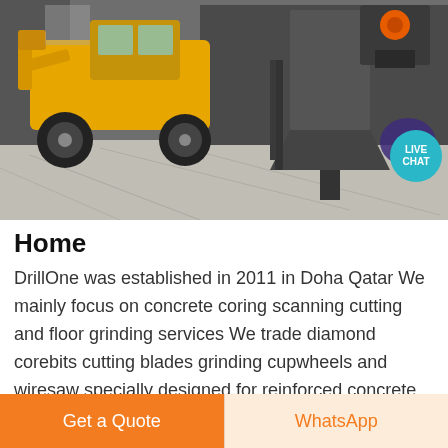[Figure (photo): Construction site photo showing a yellow front-loader/wheel loader machine and heavy industrial equipment including what appears to be a crusher or hopper, on a concrete floor. Live Chat bubble overlay in top-right corner.]
Home
DrillOne was established in 2011 in Doha Qatar We mainly focus on concrete coring scanning cutting and floor grinding services We trade diamond corebits cutting blades grinding cupwheels and wiresaw specially designed for reinforced concrete
[Figure (other): Bottom action bar with two buttons: 'Get a Quote' (orange background) and 'WhatsApp' (cream background with orange text)]